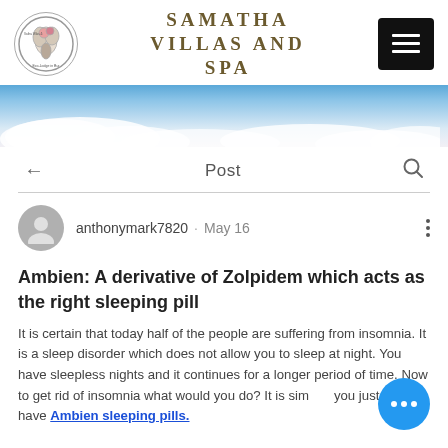SAMATHA VILLAS and SPA
[Figure (screenshot): Sky and clouds banner image]
Post
anthonymark7820 · May 16
Ambien: A derivative of Zolpidem which acts as the right sleeping pill
It is certain that today half of the people are suffering from insomnia. It is a sleep disorder which does not allow you to sleep at night. You have sleepless nights and it continues for a longer period of time. Now to get rid of insomnia what would you do? It is simple, you just need to have Ambien sleeping pills.